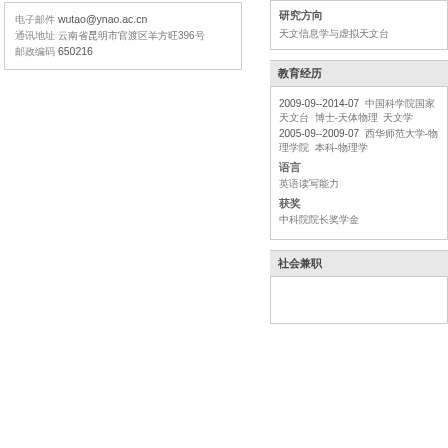电子邮件 wutao@ynao.ac.cn
通讯地址 云南省昆明市官渡区羊方旺396号
邮政编码 650216
研究方向
天文信息学与虚拟天文台
教育经历
2009-09--2014-07  中国科学院国家天文台  博士-天体物理  天文学
2005-09--2009-07  西华师范大学-物理学院  本科-物理学
语言
英语读写能力
获奖
中科院院长奖学金
社会兼职